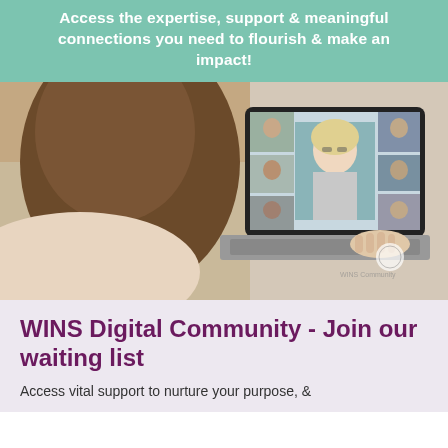Access the expertise, support & meaningful connections you need to flourish & make an impact!
[Figure (photo): Woman lying down using a laptop showing a video call with multiple participants on screen]
WINS Digital Community - Join our waiting list
Access vital support to nurture your purpose, &